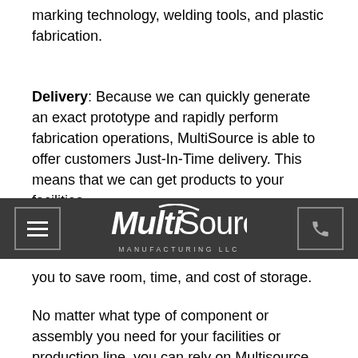We also utilize a Class 5 clean room, laser marking technology, welding tools, and plastic fabrication.
Delivery: Because we can quickly generate an exact prototype and rapidly perform fabrication operations, MultiSource is able to offer customers Just-In-Time delivery. This means that we can get products to your facilities,
[Figure (logo): MultiSource Manufacturing LLC logo with hamburger menu button on left and phone icon button on right, on dark gray navigation bar]
you to save room, time, and cost of storage.
No matter what type of component or assembly you need for your facilities or production line, you can rely on Multisource Manufacturing LLC to fabricate that product with lean,